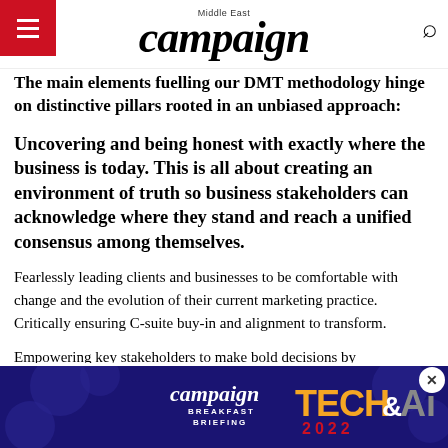campaign Middle East
The main elements fuelling our DMT methodology hinge on distinctive pillars rooted in an unbiased approach:
Uncovering and being honest with exactly where the business is today. This is all about creating an environment of truth so business stakeholders can acknowledge where they stand and reach a unified consensus among themselves.
Fearlessly leading clients and businesses to be comfortable with change and the evolution of their current marketing practice. Critically ensuring C-suite buy-in and alignment to transform.
Empowering key stakeholders to make bold decisions by
[Figure (other): Campaign Middle East advertisement banner for Campaign Tech & AI Breakfast Briefing 2022]